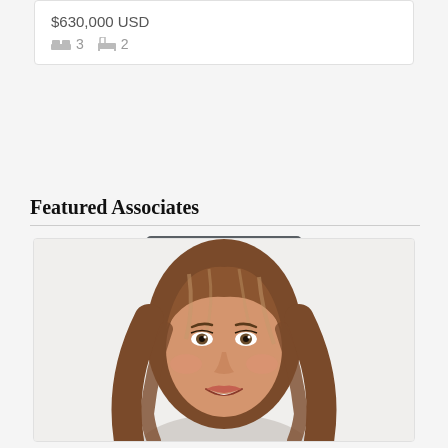$630,000 USD
3  2
More Listings ▼
Featured Associates
[Figure (photo): Headshot of a smiling woman with medium-length auburn/brown hair, against a white background]